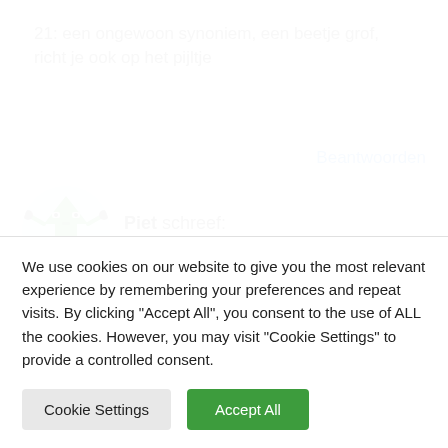21: een ongewoon synoniem, een beetje grof, richt je ook op het pijltje
Beantwoorden
[Figure (illustration): Avatar of Piet: a cartoon green arrow/monster character with eyes, arms and legs on a light blue circular background]
Piet schreef:
26 december 2007 om 16:03
Ik word gek van no. 15. zie de vorm niet
Beantwoorden
We use cookies on our website to give you the most relevant experience by remembering your preferences and repeat visits. By clicking "Accept All", you consent to the use of ALL the cookies. However, you may visit "Cookie Settings" to provide a controlled consent.
Cookie Settings
Accept All